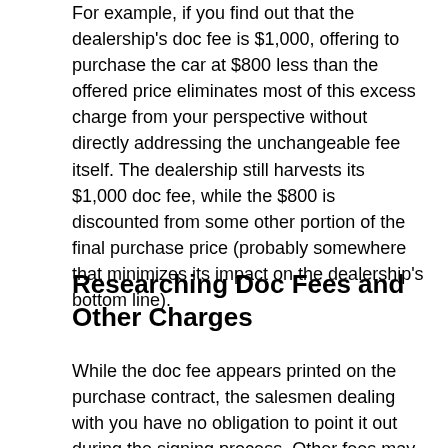For example, if you find out that the dealership's doc fee is $1,000, offering to purchase the car at $800 less than the offered price eliminates most of this excess charge from your perspective without directly addressing the unchangeable fee itself. The dealership still harvests its $1,000 doc fee, while the $800 is discounted from some other portion of the final purchase price (probably somewhere that minimizes its impact on the dealership's bottom line).
Researching Doc Fees and Other Charges
While the doc fee appears printed on the purchase contract, the salesmen dealing with you have no obligation to point it out during the signing process. Other fees may also appear there, including paint